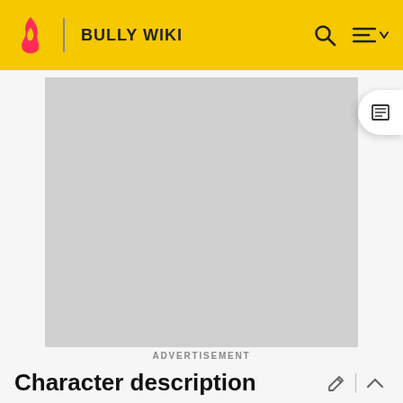BULLY WIKI
[Figure (other): Advertisement placeholder — large grey rectangle]
ADVERTISEMENT
Character description
Trevor is a black student with a young-sounding voice. He looks similar to Lance, and they can be hard to tell apart